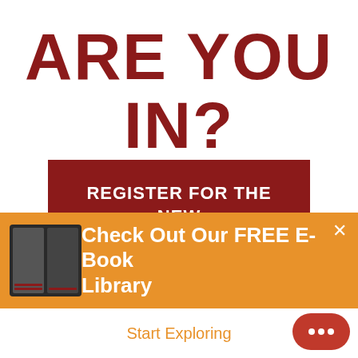ARE YOU IN?
REGISTER FOR THE NEW YEAR'S CHALLENGE
This is the most important step
[Figure (infographic): Orange promotional banner overlay showing two e-book covers on the left, bold white text 'Check Out Our FREE E-Book Library', a close (x) button, a white CTA bar with orange text 'Start Exploring', and a red rounded chat bubble with three white dots in the bottom right.]